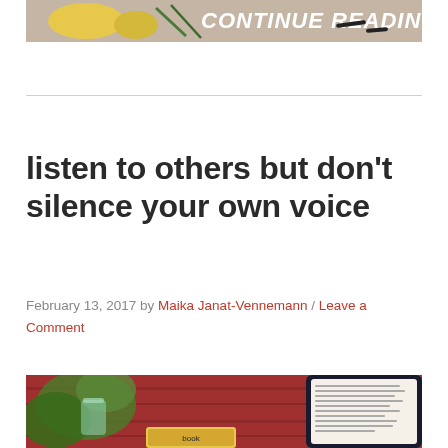[Figure (illustration): Colorful banner image with handwritten text reading 'CONTINUE READING' on a muted green/pink background with illustrated elements]
listen to others but don't silence your own voice
February 13, 2017 by Maika Janat-Vennemann / Leave a Comment
[Figure (photo): Photo showing books, a tablet displaying text, and green plants on a red wooden surface]